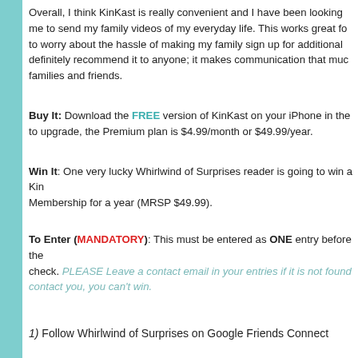Overall, I think KinKast is really convenient and I have been looking me to send my family videos of my everyday life. This works great fo to worry about the hassle of making my family sign up for additional definitely recommend it to anyone; it makes communication that muc families and friends.
Buy It: Download the FREE version of KinKast on your iPhone in the to upgrade, the Premium plan is $4.99/month or $49.99/year.
Win It: One very lucky Whirlwind of Surprises reader is going to win a Kin Membership for a year (MRSP $49.99).
To Enter (MANDATORY): This must be entered as ONE entry before the check. PLEASE Leave a contact email in your entries if it is not found contact you, you can't win.
1) Follow Whirlwind of Surprises on Google Friends Connect
Bonus Entries -Please make sure you put 1 comment for each